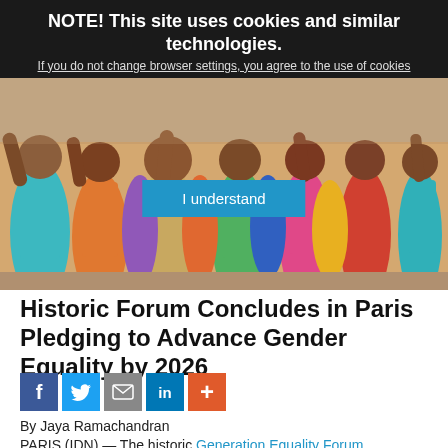NOTE! This site uses cookies and similar technologies. If you do not change browser settings, you agree to the use of cookies
[Figure (photo): Group of Indian women in colorful saris raising their fists in the air in celebration or protest, with a 'I understand' cookie consent button overlaid on the image]
Historic Forum Concludes in Paris Pledging to Advance Gender Equality by 2026
[Figure (infographic): Social sharing icons row: Facebook (blue), Twitter (light blue), Email (grey), LinkedIn (blue), Plus/More (orange-red)]
By Jaya Ramachandran
PARIS (IDN) — The historic Generation Equality Forum